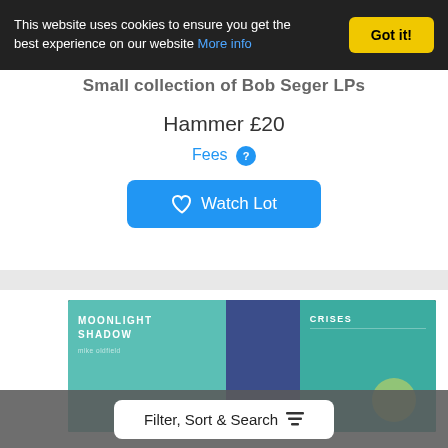This website uses cookies to ensure you get the best experience on our website More info
Got it!
Small collection of Bob Seger LPs
Hammer £20
Fees ?
Watch Lot
[Figure (photo): Two vinyl record album sleeves side by side: 'Moonlight Shadow' with teal/blue-green cover on the left, a dark blue textured section in the middle, and 'Crises' with a teal cover on the right]
Filter, Sort & Search